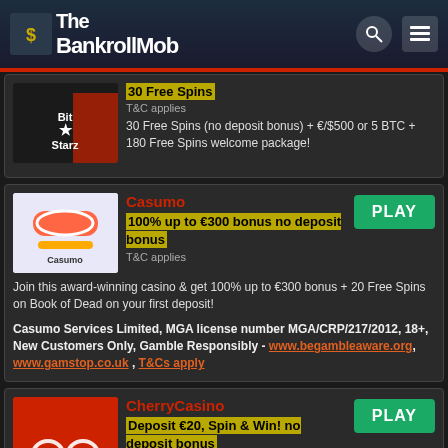The BankrollMob
30 Free Spins (no deposit bonus) + €/$500 or 5 BTC + 180 Free Spins welcome package!
Casumo
100% up to €300 bonus no deposit bonus
T&C applies
Join this award-winning casino & get 100% up to €300 bonus + 20 Free Spins on Book of Dead on your first deposit!
Casumo Services Limited, MGA license number MGA/CRP/217/2012, 18+, New Customers Only, Gamble Responsibly - www.begambleaware.org, www.gamstop.co.uk , T&Cs apply
CherryCasino
Deposit €20, Spin & Win! no deposit bonus
T&C applies
Kick off your adventure at an award-winning casino with up to 200 free spins when you make your first deposit of €20 or more!